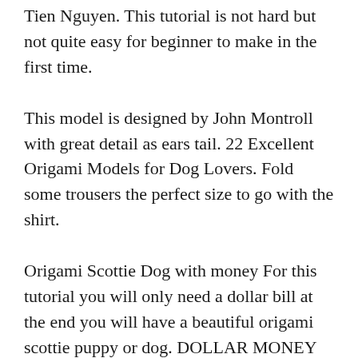Tien Nguyen. This tutorial is not hard but not quite easy for beginner to make in the first time.
This model is designed by John Montroll with great detail as ears tail. 22 Excellent Origami Models for Dog Lovers. Fold some trousers the perfect size to go with the shirt.
Origami Scottie Dog with money For this tutorial you will only need a dollar bill at the end you will have a beautiful origami scottie puppy or dog. DOLLAR MONEY ORIGAMI DOG. Money Origami Animals Dollar Bill